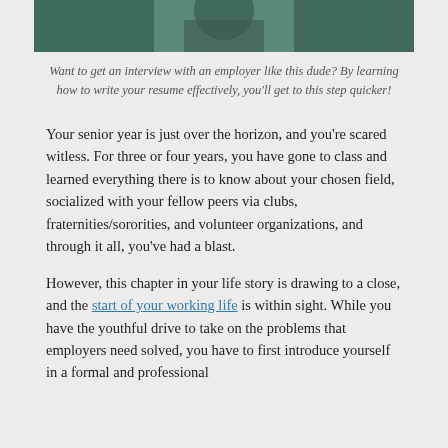[Figure (photo): Partial photo of a person in a green/teal outfit, cropped at the top of the page]
Want to get an interview with an employer like this dude? By learning how to write your resume effectively, you'll get to this step quicker!
Your senior year is just over the horizon, and you're scared witless. For three or four years, you have gone to class and learned everything there is to know about your chosen field, socialized with your fellow peers via clubs, fraternities/sororities, and volunteer organizations, and through it all, you've had a blast.
However, this chapter in your life story is drawing to a close, and the start of your working life is within sight. While you have the youthful drive to take on the problems that employers need solved, you have to first introduce yourself in a formal and professional